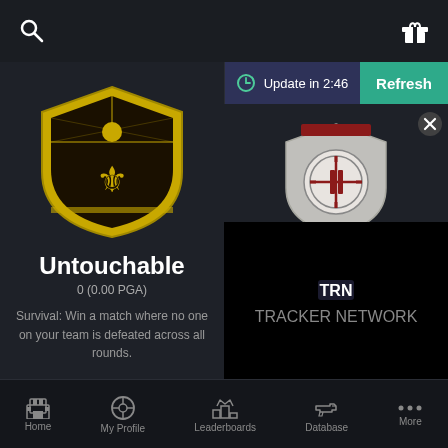[Figure (screenshot): Gaming app UI screenshot showing achievements screen with two panels. Left panel shows 'Untouchable' achievement with yellow shield badge. Right panel shows 'I Live Here Now' achievement with gray shield badge. Bottom navigation bar with Home, My Profile, Leaderboards, Database, More. Update timer showing 2:46 and Refresh button. TRN Tracker Network video overlay in bottom right.]
Update in 2:46
Refresh
Untouchable
0 (0.00 PGA)
Survival: Win a match where no one on your team is defeated across all rounds.
I Live Here Now
TRN TRACKER NETWORK
Home
My Profile
Leaderboards
Database
More